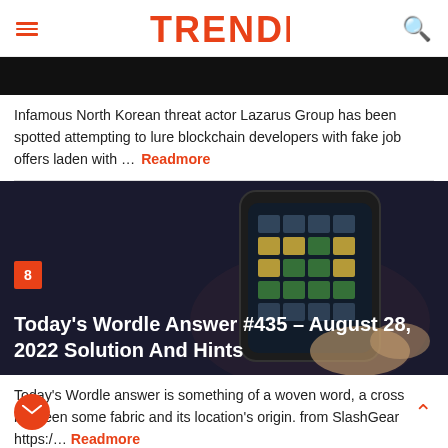TRENDLY
[Figure (photo): Dark/black image bar at top of article, partial view]
Infamous North Korean threat actor Lazarus Group has been spotted attempting to lure blockchain developers with fake job offers laden with ... Readmore
[Figure (photo): Person holding a smartphone showing the Wordle game app, dark background, with badge number 8 overlay and title overlay]
Today's Wordle Answer #435 – August 28, 2022 Solution And Hints
Today's Wordle answer is something of a woven word, a cross between some fabric and its location's origin. from SlashGear https:/... Readmore